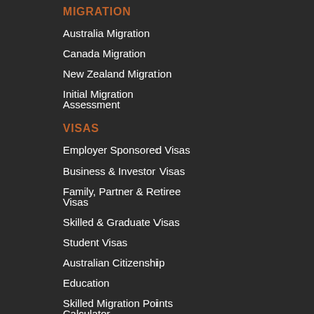MIGRATION
Australia Migration
Canada Migration
New Zealand Migration
Initial Migration Assessment
VISAS
Employer Sponsored Visas
Business & Investor Visas
Family, Partner & Retiree Visas
Skilled & Graduate Visas
Student Visas
Australian Citizenship
Education
Skilled Migration Points Calculator
Free Visa Assessment